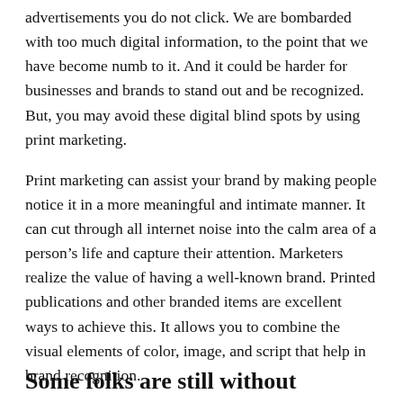advertisements you do not click. We are bombarded with too much digital information, to the point that we have become numb to it. And it could be harder for businesses and brands to stand out and be recognized. But, you may avoid these digital blind spots by using print marketing.
Print marketing can assist your brand by making people notice it in a more meaningful and intimate manner. It can cut through all internet noise into the calm area of a person’s life and capture their attention. Marketers realize the value of having a well-known brand. Printed publications and other branded items are excellent ways to achieve this. It allows you to combine the visual elements of color, image, and script that help in brand recognition.
Some folks are still without